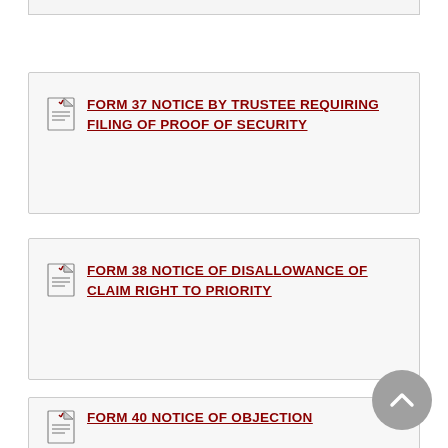FORM 37 NOTICE BY TRUSTEE REQUIRING FILING OF PROOF OF SECURITY
FORM 38 NOTICE OF DISALLOWANCE OF CLAIM RIGHT TO PRIORITY
FORM 40 NOTICE OF OBJECTION